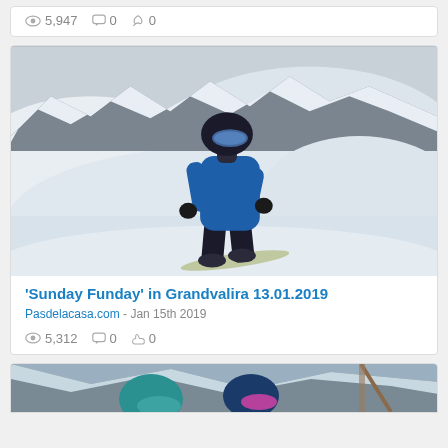👁 5,947  💬 0  👍 0
[Figure (photo): Person in blue jacket and helmet snowboarding on a snowy mountain slope at Grandvalira]
'Sunday Funday' in Grandvalira 13.01.2019
Pasdelacasa.com - Jan 15th 2019
👁 5,312  💬 0  👍 0
[Figure (photo): Partial view of skiers with helmets on a snowy slope (bottom of page, cropped)]